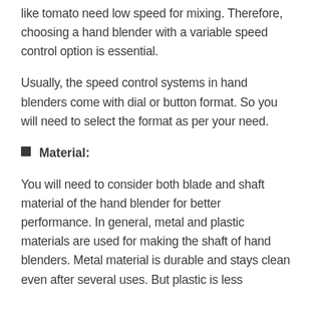like tomato need low speed for mixing. Therefore, choosing a hand blender with a variable speed control option is essential.
Usually, the speed control systems in hand blenders come with dial or button format. So you will need to select the format as per your need.
Material:
You will need to consider both blade and shaft material of the hand blender for better performance. In general, metal and plastic materials are used for making the shaft of hand blenders. Metal material is durable and stays clean even after several uses. But plastic is less